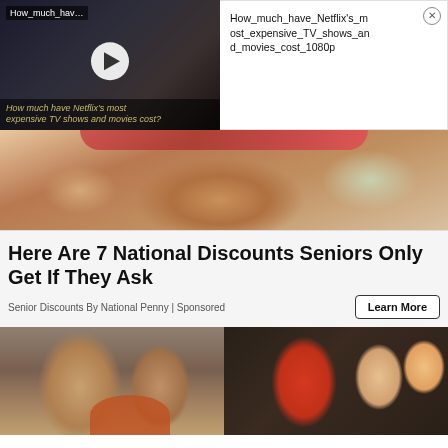[Figure (screenshot): Video thumbnail showing Netflix TV shows/movies with play button overlay and caption 'How much have Netflix's most expensive TV shows and movies cost?']
[Figure (screenshot): Video info panel with title 'How_much_have_Netflix's_most_expensive_TV_shows_and_movies_cost_1080p' and a close (X) button]
[Figure (photo): Close-up photo of hands holding something, with red packaging visible at top]
Here Are 7 National Discounts Seniors Only Get If They Ask
Senior Discounts By National Penny | Sponsored
[Figure (photo): Photo of two men, one in orange prison jumpsuit wearing glasses]
[Figure (photo): Photo of a man in red shirt with a woman and young child, smiling in front of a dark door]